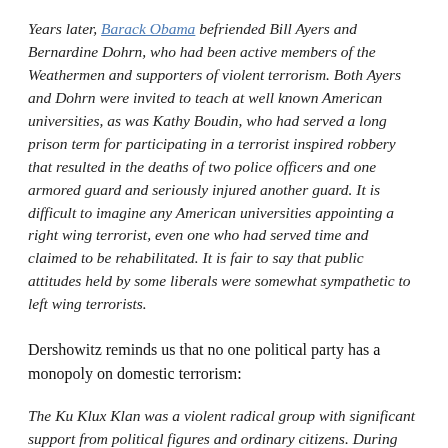Years later, Barack Obama befriended Bill Ayers and Bernardine Dohrn, who had been active members of the Weathermen and supporters of violent terrorism. Both Ayers and Dohrn were invited to teach at well known American universities, as was Kathy Boudin, who had served a long prison term for participating in a terrorist inspired robbery that resulted in the deaths of two police officers and one armored guard and seriously injured another guard. It is difficult to imagine any American universities appointing a right wing terrorist, even one who had served time and claimed to be rehabilitated. It is fair to say that public attitudes held by some liberals were somewhat sympathetic to left wing terrorists.
Dershowitz reminds us that no one political party has a monopoly on domestic terrorism:
The Ku Klux Klan was a violent radical group with significant support from political figures and ordinary citizens. During the first decades of the 20th century, left wing anarchists planted bombs and engaged in other forms of violence that killed many